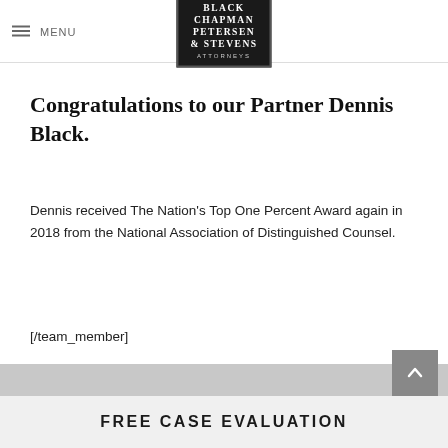Black Chapman Petersen & Stevens Attorneys
Congratulations to our Partner Dennis Black.
Dennis received The Nation’s Top One Percent Award again in 2018 from the National Association of Distinguished Counsel.
[/team_member]
FREE CASE EVALUATION